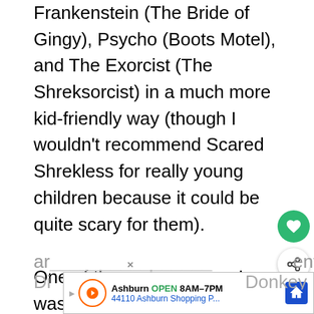Frankenstein (The Bride of Gingy), Psycho (Boots Motel), and The Exorcist (The Shreksorcist) in a much more kid-friendly way (though I wouldn't recommend Scared Shrekless for really young children because it could be quite scary for them).

One of the main reasons I was pleasantly surprised by Scared Shrekless is the still very high production quality, which is even pretty close to movie quality. Almost the entire original voice talent roster returns (Mike Myers, Cameron Diaz, and Antonio Banderas ar... Donkey...
[Figure (screenshot): Ad banner: Ashburn OPEN 8AM-7PM, 44110 Ashburn Shopping P...]